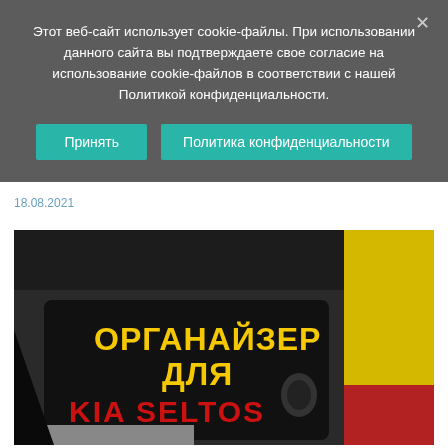Этот веб-сайт использует cookie-файлы. При использовании данного сайта вы подтверждаете свое согласие на использование cookie-файлов в соответствии с нашей Политикой конфиденциальности.
Принять
Политика конфиденциальности
18.08.2021
[Figure (photo): Car trunk open, showing a black trunk organizer with yellow text 'ОРГАНАЙЗЕР ДЛЯ' and red text 'KIA SELTOS', yellow car body visible on the right side]